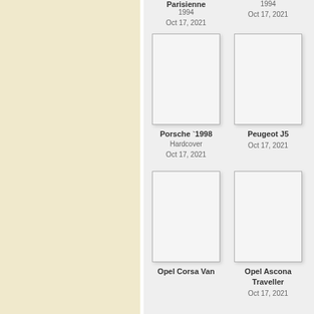[Figure (illustration): Left sidebar panel with cream/beige background]
Parisienne
1994
Oct 17, 2021
[Figure (illustration): Blank book cover placeholder for second column top item]
1994
Oct 17, 2021
[Figure (illustration): Blank book cover placeholder for Porsche 1998]
Porsche `1998
Hardcover
Oct 17, 2021
[Figure (illustration): Blank book cover placeholder for Peugeot J5]
Peugeot J5
Oct 17, 2021
[Figure (illustration): Blank book cover placeholder for Opel Corsa Van]
Opel Corsa Van
[Figure (illustration): Blank book cover placeholder for Opel Ascona Traveller]
Opel Ascona Traveller
Oct 17, 2021